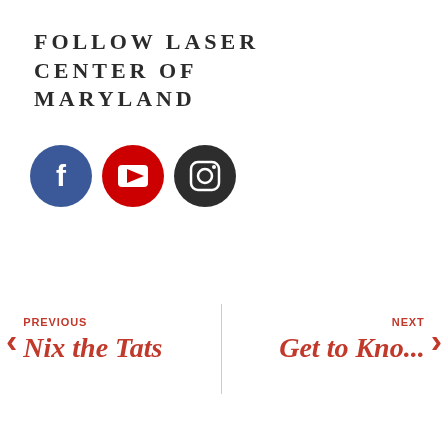FOLLOW LASER CENTER OF MARYLAND
[Figure (logo): Three social media icons in a row: Facebook (blue circle with 'f'), YouTube (red circle with play button), Instagram (dark gray circle with camera icon)]
< PREVIOUS Nix the Tats
NEXT Get to Kno... >